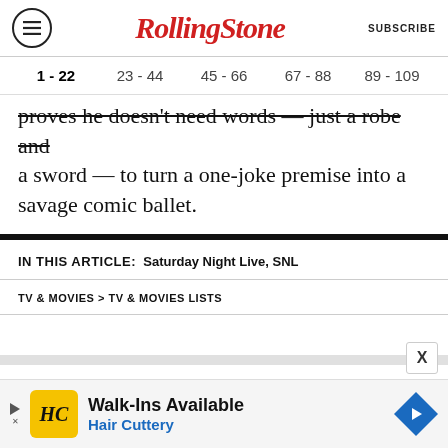RollingStone | SUBSCRIBE
1 - 22  23 - 44  45 - 66  67 - 88  89 - 109
proves he doesn't need words — just a robe and a sword — to turn a one-joke premise into a savage comic ballet.
IN THIS ARTICLE:  Saturday Night Live, SNL
TV & MOVIES > TV & MOVIES LISTS
[Figure (infographic): Walk-Ins Available Hair Cuttery advertisement banner at the bottom of the page]